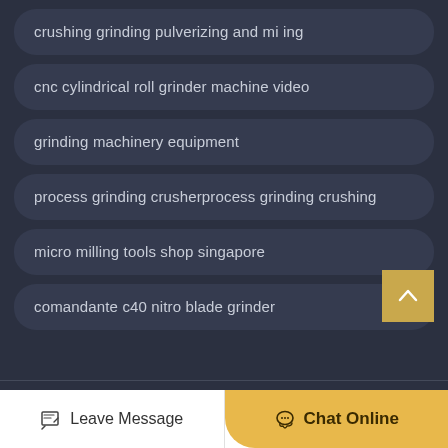crushing grinding pulverizing and mi ing
cnc cylindrical roll grinder machine video
grinding machinery equipment
process grinding crusherprocess grinding crushing
micro milling tools shop singapore
comandante c40 nitro blade grinder
Leave Message
Chat Online